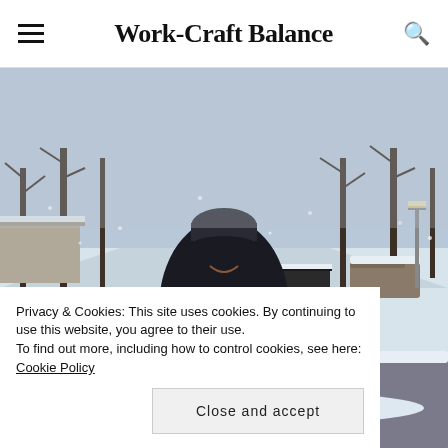Work-Craft Balance
[Figure (photo): A young woman smiling in a snowy outdoor scene, wearing a dark hoodie and winter hat, holding snow in her gloved hand. Snow-covered cars and a snowy street are visible in the background.]
Privacy & Cookies: This site uses cookies. By continuing to use this website, you agree to their use.
To find out more, including how to control cookies, see here: Cookie Policy
Close and accept